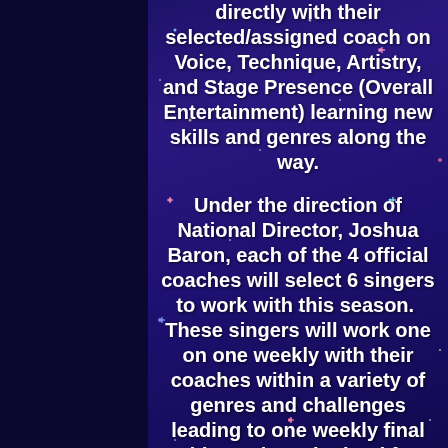directly with their selected/assigned coach on Voice, Technique, Artistry, and Stage Presence (Overall Entertainment) learning new skills and genres along the way.
Under the direction of National Director, Joshua Baron, each of the 4 official coaches will select 6 singers to work with this season.  These singers will work one on one weekly with their coaches within a variety of genres and challenges leading to one weekly final video to be submitted for judging from the entire *coaching panel